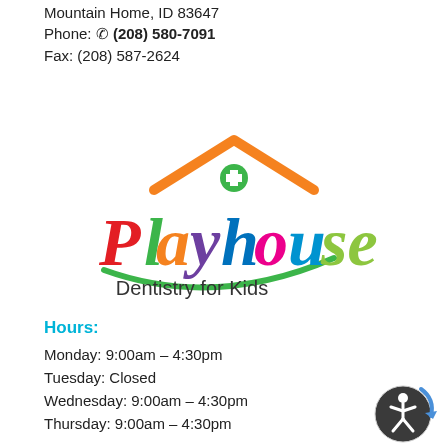Mountain Home, ID 83647
Phone: ☎ (208) 580-7091
Fax: (208) 587-2624
[Figure (logo): Playhouse Dentistry for Kids logo with colorful lettering and a house rooftop graphic with a green dental cross symbol]
Hours:
Monday: 9:00am – 4:30pm
Tuesday: Closed
Wednesday: 9:00am – 4:30pm
Thursday: 9:00am – 4:30pm